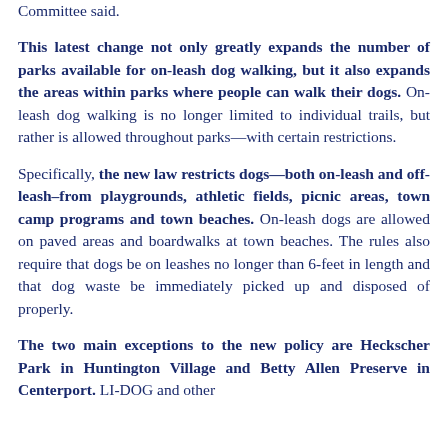Committee said.
This latest change not only greatly expands the number of parks available for on-leash dog walking, but it also expands the areas within parks where people can walk their dogs. On-leash dog walking is no longer limited to individual trails, but rather is allowed throughout parks—with certain restrictions.
Specifically, the new law restricts dogs—both on-leash and off-leash–from playgrounds, athletic fields, picnic areas, town camp programs and town beaches. On-leash dogs are allowed on paved areas and boardwalks at town beaches. The rules also require that dogs be on leashes no longer than 6-feet in length and that dog waste be immediately picked up and disposed of properly.
The two main exceptions to the new policy are Heckscher Park in Huntington Village and Betty Allen Preserve in Centerport. LI-DOG and other